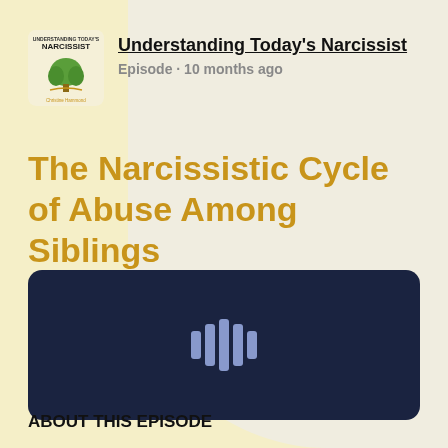[Figure (logo): Understanding Today's Narcissist podcast logo — small square image with tree illustration and text]
Understanding Today's Narcissist
Episode · 10 months ago
The Narcissistic Cycle of Abuse Among Siblings
[Figure (screenshot): Dark navy podcast player widget with waveform/podcast icon in center]
ABOUT THIS EPISODE